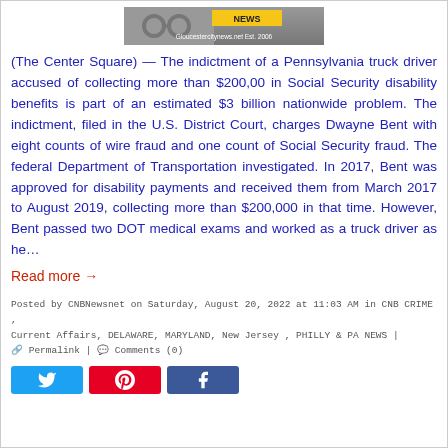[Figure (logo): Gloucestercitynews.net logo with handcuffs image and yellow NEWS banner. Text: Gloucestercitynews.net Est. 2006]
(The Center Square) — The indictment of a Pennsylvania truck driver accused of collecting more than $200,00 in Social Security disability benefits is part of an estimated $3 billion nationwide problem. The indictment, filed in the U.S. District Court, charges Dwayne Bent with eight counts of wire fraud and one count of Social Security fraud. The federal Department of Transportation investigated. In 2017, Bent was approved for disability payments and received them from March 2017 to August 2019, collecting more than $200,000 in that time. However, Bent passed two DOT medical exams and worked as a truck driver as he…
Read more →
Posted by CNBNewsnet on Saturday, August 20, 2022 at 11:03 AM in CNB CRIME , Current Affairs, DELAWARE, MARYLAND, New Jersey , PHILLY & PA NEWS | Permalink | Comments (0)
[Figure (other): Social media sharing buttons: Twitter, Pinterest, Facebook]